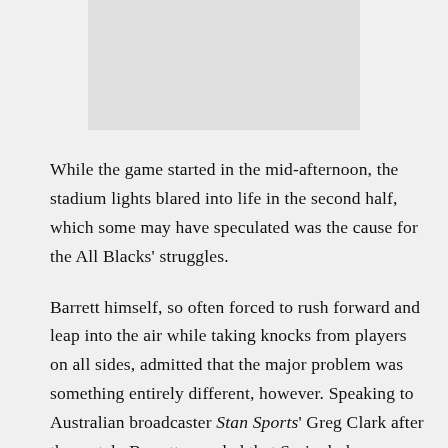[Figure (photo): Partially visible image placeholder at the top of the page, light gray rectangle]
While the game started in the mid-afternoon, the stadium lights blared into life in the second half, which some may have speculated was the cause for the All Blacks' struggles.
Barrett himself, so often forced to rush forward and leap into the air while taking knocks from players on all sides, admitted that the major problem was something entirely different, however. Speaking to Australian broadcaster Stan Sports' Greg Clark after the match, Barrett revealed that Springboks scrum-half De Klerk was adding spin to the high balls,